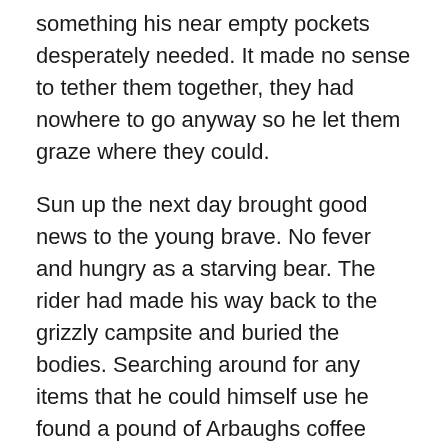something his near empty pockets desperately needed. It made no sense to tether them together, they had nowhere to go anyway so he let them graze where they could.
Sun up the next day brought good news to the young brave. No fever and hungry as a starving bear. The rider had made his way back to the grizzly campsite and buried the bodies. Searching around for any items that he could himself use he found a pound of Arbaughs coffee beans, some canned food items, a box of mixed coins amounting to twenty seven dollars and a bottle of whisky. The Apaches were too young to have appreciated the taste for whisky yet so it went over looked or unwanted. Putting his newly found goods in his saddle bags, he then said a prayer to the Lord above for those now lying cold in the ground that they would now be at peace. Something their